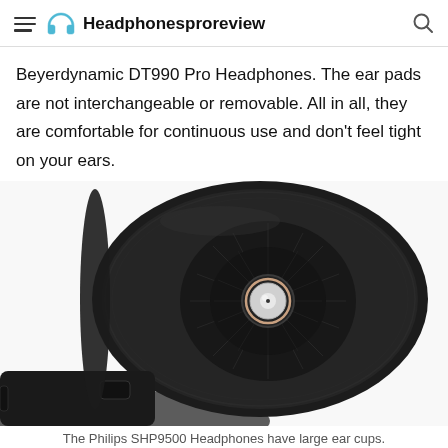Headphonesproreview
Beyerdynamic DT990 Pro Headphones. The ear pads are not interchangeable or removable. All in all, they are comfortable for continuous use and don't feel tight on your ears.
[Figure (photo): Close-up photograph of a large over-ear headphone ear cup, showing a circular black velour ear pad surrounding a speaker driver with a silver center, viewed from the front/inside. The headphone appears to be the Philips SHP9500.]
The Philips SHP9500 Headphones have large ear cups.